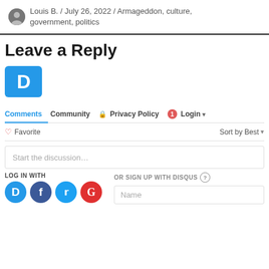Louis B. / July 26, 2022 / Armageddon, culture, government, politics
Leave a Reply
[Figure (logo): Disqus logo: blue rounded rectangle with white D letter]
Comments  Community  Privacy Policy  Login
Favorite  Sort by Best
Start the discussion…
LOG IN WITH
[Figure (logo): Social login icons: Disqus (blue), Facebook (dark blue), Twitter (light blue), Google (red)]
OR SIGN UP WITH DISQUS
Name